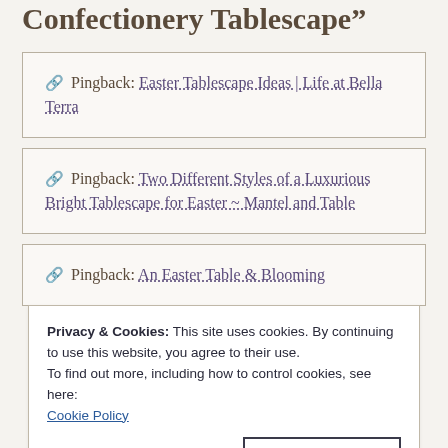Confectionery Tablescape"
🔗 Pingback: Easter Tablescape Ideas | Life at Bella Terra
🔗 Pingback: Two Different Styles of a Luxurious Bright Tablescape for Easter ~ Mantel and Table
🔗 Pingback: An Easter Table & Blooming
Privacy & Cookies: This site uses cookies. By continuing to use this website, you agree to their use. To find out more, including how to control cookies, see here: Cookie Policy
Close and accept